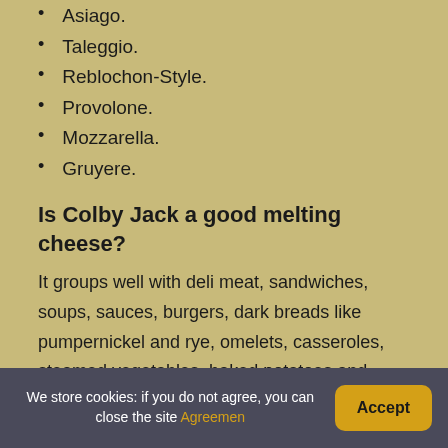Asiago.
Taleggio.
Reblochon-Style.
Provolone.
Mozzarella.
Gruyere.
Is Colby Jack a good melting cheese?
It groups well with deli meat, sandwiches, soups, sauces, burgers, dark breads like pumpernickel and rye, omelets, casseroles, steamed vegetables, baked potatoes and fruits like apples and pears. Also, due to its good melting capabilities, it is the perfect choice for casseroles and nachos.
We store cookies: if you do not agree, you can close the site Agreement